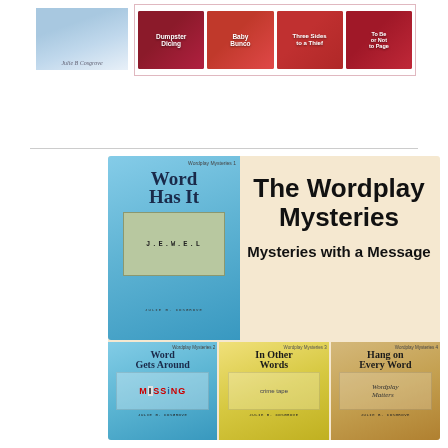[Figure (illustration): Top band with a book cover (light blue) on the left and four small mystery book thumbnails on the right — Dumpster Dicing, Baby Bunco, Three Sides to a Thiever, and a fourth title — in a pink-bordered strip.]
[Figure (illustration): The Wordplay Mysteries promotional image: a large beige/tan banner reading 'The Wordplay Mysteries — Mysteries with a Message', flanked on the left by the 'Word Has It' book cover (blue, Scrabble-themed) and below by three more covers: 'Word Gets Around', 'In Other Words', and 'Hang on Every Word', all by Julie B. Cosgrove.]